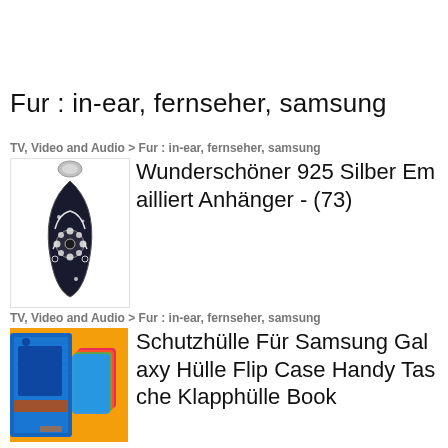Fur : in-ear, fernseher, samsung
TV, Video and Audio > Fur : in-ear, fernseher, samsung
[Figure (photo): Black teardrop-shaped enamel pendant with silver 925 chain bail and floral crystal rhinestone center detail]
Wunderschöner 925 Silber Emailliert Anhänger - (73)
TV, Video and Audio > Fur : in-ear, fernseher, samsung
[Figure (photo): Blue denim-style Samsung Galaxy flip case / book wallet cover shown with multiple colorful phone cases on orange background]
Schutzhülle Für Samsung Galaxy Hülle Flip Case Handy Tasche Klapphülle Book